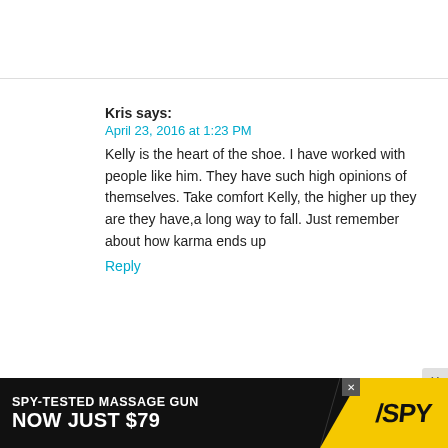Kris says:
April 23, 2016 at 1:23 PM
Kelly is the heart of the shoe. I have worked with people like him. They have such high opinions of themselves. Take comfort Kelly, the higher up they are they have,a long way to fall. Just remember about how karma ends up
Reply
Genevieve says: says:
April 23, 2016 at 1:36 PM
Michael Strahan could've shown MORE respect for Kelly Ripa !!!!!!! MONTHS AGO !!!!!!! By telling her HIMSELF !!!!!!!! Why didn't u Michael? !!!!!!!
Reply
[Figure (infographic): Advertisement banner: SPY-TESTED MASSAGE GUN NOW JUST $79 with SPY logo on yellow background]